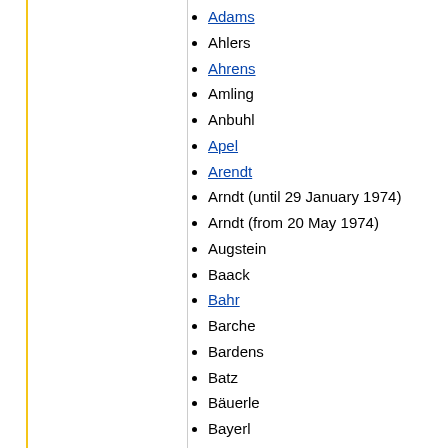Adams
Ahlers
Ahrens
Amling
Anbuhl
Apel
Arendt
Arndt (until 29 January 1974)
Arndt (from 20 May 1974)
Augstein
Baack
Bahr
Barche
Bardens
Batz
Bäuerle
Bayerl
Becker
Beermann (until 24 November 1975)
Behrendt
Berkhan (until 19 March 1975)
Biermann
Blank
Böhme
Börner (until 22 October 1976)